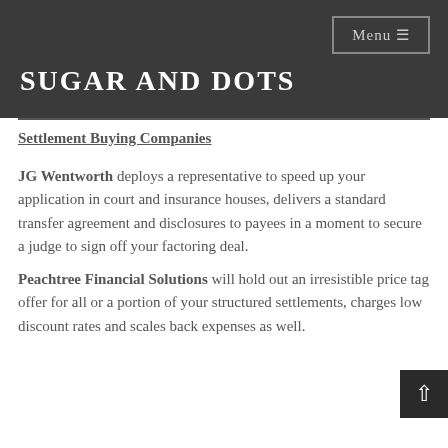SUGAR AND DOTS
Settlement Buying Companies
JG Wentworth deploys a representative to speed up your application in court and insurance houses, delivers a standard transfer agreement and disclosures to payees in a moment to secure a judge to sign off your factoring deal.
Peachtree Financial Solutions will hold out an irresistible price tag offer for all or a portion of your structured settlements, charges low discount rates and scales back expenses as well.